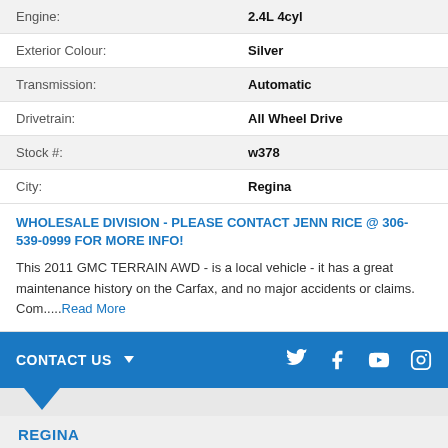| Engine: | 2.4L 4cyl |
| Exterior Colour: | Silver |
| Transmission: | Automatic |
| Drivetrain: | All Wheel Drive |
| Stock #: | w378 |
| City: | Regina |
WHOLESALE DIVISION - PLEASE CONTACT JENN RICE @ 306-539-0999 FOR MORE INFO!
This 2011 GMC TERRAIN AWD - is a local vehicle - it has a great maintenance history on the Carfax, and no major accidents or claims. Com.....Read More
CONTACT US | Social icons: Twitter, Facebook, YouTube, Instagram
REGINA
ADDRESS